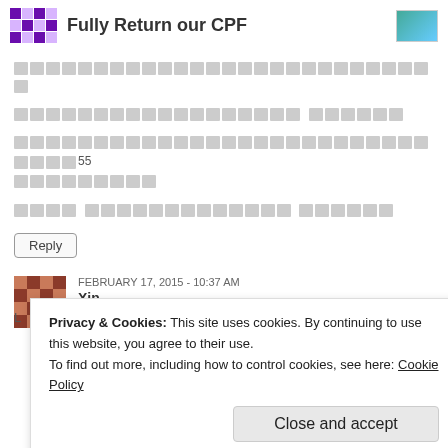Fully Return our CPF
[Thai text block 1 - multiple lines of Thai script content]
[Thai text block 2 - shorter Thai script content]
[Thai text block 3 - long Thai script content mentioning 55]
[Thai text block 4 - short Thai script content]
Reply
FEBRUARY 17, 2015 - 10:37 AM
Xin
Privacy & Cookies: This site uses cookies. By continuing to use this website, you agree to their use. To find out more, including how to control cookies, see here: Cookie Policy
Close and accept